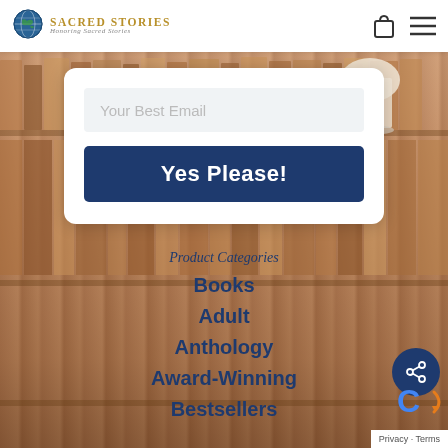[Figure (logo): Sacred Stories logo with globe icon and text]
[Figure (screenshot): Email subscription form with 'Your Best Email' input field and 'Yes Please!' button on bookshelf background]
Product Categories
Books
Adult
Anthology
Award-Winning
Bestsellers
[Figure (other): Share icon button (circular dark blue)]
Privacy · Terms